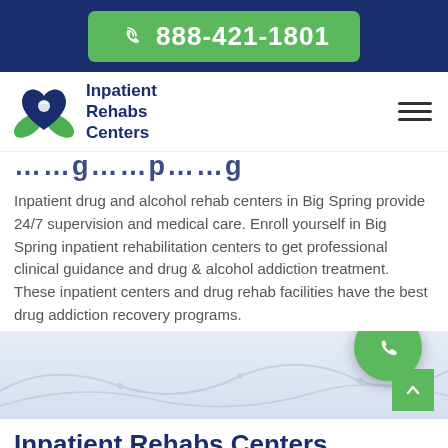888-421-1801
[Figure (logo): Inpatient Rehabs Centers logo with green hands holding a blue heart containing a dove, and dark blue text reading 'Inpatient Rehabs Centers']
...g...p...g (partial page title cut off)
Inpatient drug and alcohol rehab centers in Big Spring provide 24/7 supervision and medical care. Enroll yourself in Big Spring inpatient rehabilitation centers to get professional clinical guidance and drug & alcohol addiction treatment. These inpatient centers and drug rehab facilities have the best drug addiction recovery programs.
[Figure (map): Faded map background of Big Spring area]
Inpatient Rehabs Centers